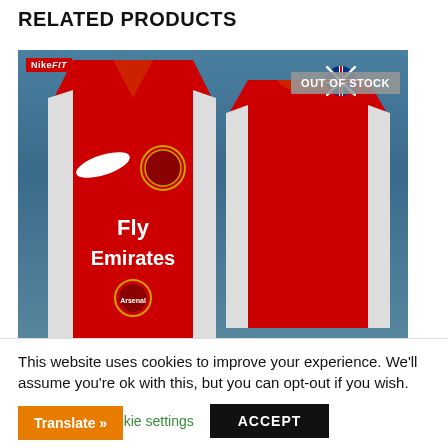RELATED PRODUCTS
[Figure (photo): Product photo showing Arsenal Nike Fit football jersey (front and back views) in red with white accents, featuring Fly Emirates sponsor text and Arsenal badge. A NikeFIT badge is in the top-left corner and an OUT OF STOCK badge is in the top-right corner of the image.]
This website uses cookies to improve your experience. We'll assume you're ok with this, but you can opt-out if you wish.
Cookie settings   ACCEPT
Translate »